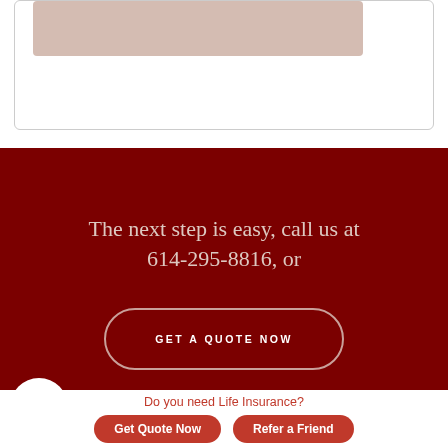[Figure (other): Partial card/box with pinkish-beige rectangle at top, bordered container]
The next step is easy, call us at 614-295-8816, or
GET A QUOTE NOW
Do you need Life Insurance?
Get Quote Now
Refer a Friend